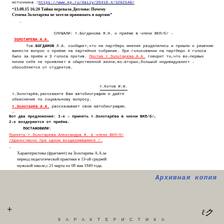источника : https://www.kp.ru/daily/26419.4/3292540/
"13.08.15 16:20 Тайна перевала Дятлова: Почему Семена Золотарева не хотели принимать в партию"
...
СЛУШАЛИ: т.Богданова Я.Н. о приёме в члени ВКП/б/ - ЗОЛОТАРЕВА А.А.
Тов.БОГДАНОВ Л.А. сообщает,что на партбюро мнения разделились и пришли к решению вынести вопрос о приёме на партийное собрание. При голосовании на партбюро 4 голоса было за приём и 3 голоса против. Против т.Золотарева А.А. говорит то,что во-первых ничем себя не проявляет в общественной жизни,во-вторых,большой индивидуалист - обособляется от студентов.
т.Котов И.И.
т.Золотарёв,расскажите Вам автобиографию и дайте объяснение по социальному вопросу.
т.Золотарёв А.А. рассказывает свою автобиографию.
...
Вот два предложения: I-е – принять т.Золотарёва в члени ВКП/б/, 2-е воздержатся от приёма.
ПОСТАНОВИЛИ:
Принять т.Золотарева Александра А. в члени ВКП/б/ /единогласно при одном воздержавшемся /.
...
Характеристика (фрагмент) на Золотарева А.А.за период педагогической практики в 13-ой средней мужской школе,с 21 марта по 08 мая 1949 года.
[Figure (photo): Archive stamp 'Архивная копия' in blue ink on grey background with handwritten cross mark on left and signature mark on right, and text ХАРАКТЕРИСТИКА at bottom]